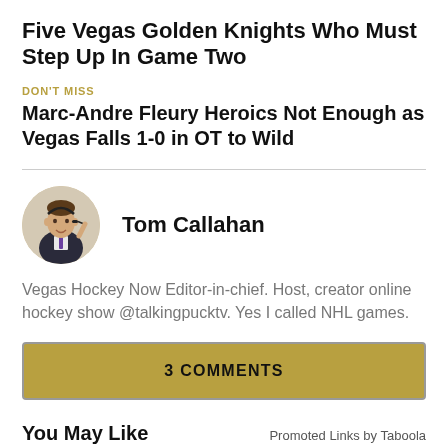Five Vegas Golden Knights Who Must Step Up In Game Two
DON'T MISS
Marc-Andre Fleury Heroics Not Enough as Vegas Falls 1-0 in OT to Wild
Tom Callahan
Vegas Hockey Now Editor-in-chief. Host, creator online hockey show @talkingpucktv. Yes I called NHL games.
3 COMMENTS
You May Like
Promoted Links by Taboola
[Figure (photo): Thumbnail image strip at bottom of page]